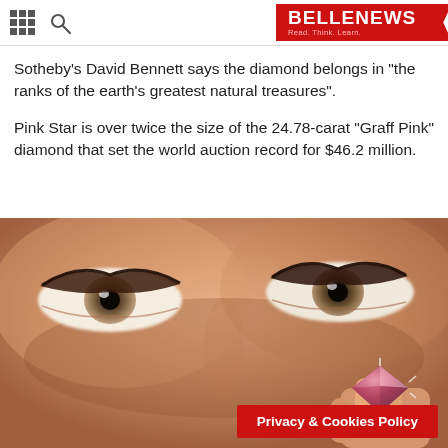BELLENEWS - Read. Think. Learn.
Sotheby's David Bennett says the diamond belongs in "the ranks of the earth's greatest natural treasures".
Pink Star is over twice the size of the 24.78-carat "Graff Pink" diamond that set the world auction record for $46.2 million.
[Figure (photo): Close-up photo of a woman's eyes with a pink diamond held up in front of her face, fingers visible holding the sparkling pink cut diamond gemstone.]
Privacy & Cookies Policy